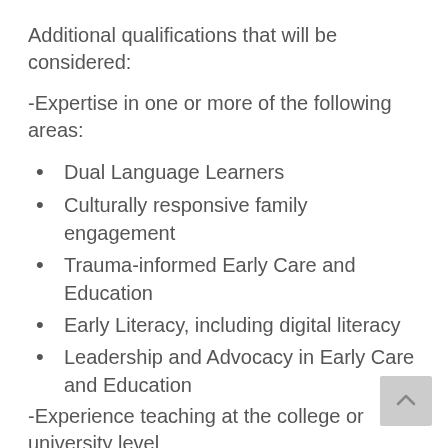Additional qualifications that will be considered:
-Expertise in one or more of the following areas:
Dual Language Learners
Culturally responsive family engagement
Trauma-informed Early Care and Education
Early Literacy, including digital literacy
Leadership and Advocacy in Early Care and Education
-Experience teaching at the college or university level
-Experience teaching in an online environment